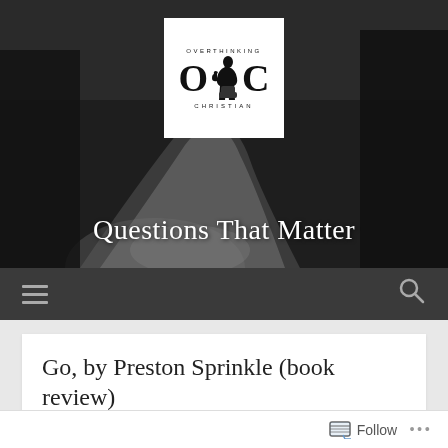[Figure (logo): Overthinking Christian logo with thinker figure between large O and C letters, white box on dark background]
Questions That Matter
[Figure (screenshot): Navigation bar with hamburger menu icon on left and search icon on right, dark grey background]
Go, by Preston Sprinkle (book review)
[Figure (screenshot): Follow button bar at bottom with follow icon and ellipsis menu]